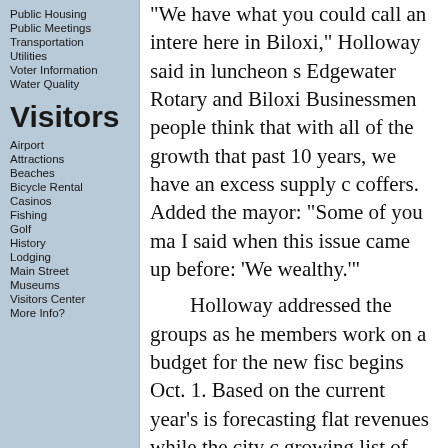Public Housing
Public Meetings
Transportation
Utilities
Voter Information
Water Quality
Visitors
Airport
Attractions
Beaches
Bicycle Rental
Casinos
Fishing
Golf
History
Lodging
Main Street
Museums
Visitors Center
More Info?
"We have what you could call an intere here in Biloxi," Holloway said in luncheon s Edgewater Rotary and Biloxi Businessmen people think that with all of the growth that past 10 years, we have an excess supply c coffers. Added the mayor: “Some of you ma I said when this issue came up before: ‘We wealthy.’”
Holloway addressed the groups as he members work on a budget for the new fisc begins Oct. 1. Based on the current year’s is forecasting flat revenues while the city c growing list of projects and new responsibili
The truth is, Holloway said, the city’s r 10 years – money collected from property t the tax on casino gaming revenue, and fee permits – has more than doubled, while the
For instance, in fiscal year ’02, the city services and major projects.
That’s not a problem because the city